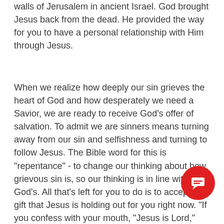walls of Jerusalem in ancient Israel. God brought Jesus back from the dead. He provided the way for you to have a personal relationship with Him through Jesus.
When we realize how deeply our sin grieves the heart of God and how desperately we need a Savior, we are ready to receive God's offer of salvation. To admit we are sinners means turning away from our sin and selfishness and turning to follow Jesus. The Bible word for this is "repentance" - to change our thinking about how grievous sin is, so our thinking is in line with God's. All that's left for you to do is to accept the gift that Jesus is holding out for you right now. "If you confess with your mouth, "Jesus is Lord," and believe in your heart that God raised him from the dead, you will be saved. For it is with your heart that you believe and are justified, and it is with